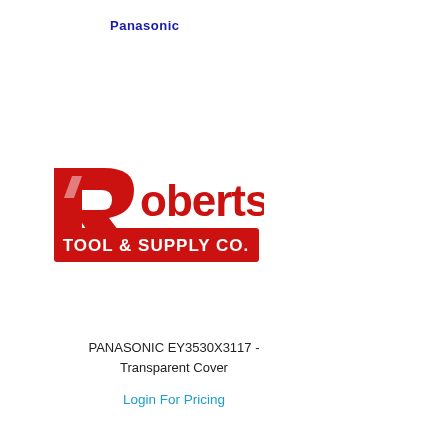Panasonic
[Figure (logo): Roberts Tool & Supply Co. logo — large red stylized 'R' with italic white highlight, followed by 'oberts' in red bold sans-serif, and a red rectangular banner below reading 'TOOL & SUPPLY CO.' in white bold text.]
PANASONIC EY3530X3117 - Transparent Cover
Login For Pricing